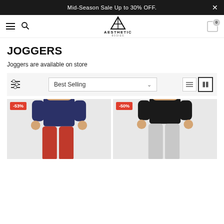Mid-Season Sale Up to 30% OFF.
[Figure (logo): Aesthetic Bodies logo with triangle icon]
JOGGERS
Joggers are available on store
Best Selling (sort dropdown)
[Figure (photo): Product image with -53% discount badge showing joggers in navy/red]
[Figure (photo): Product image with -50% discount badge showing joggers in grey/black]